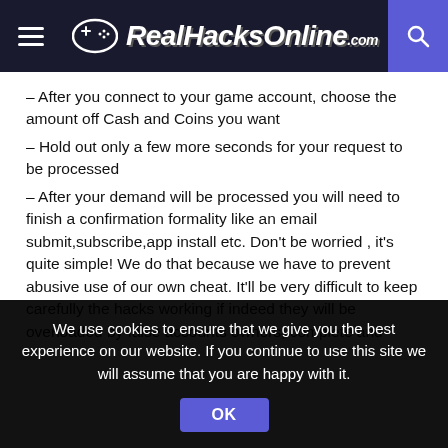RealHacksOnline.com
– After you connect to your game account, choose the amount off Cash and Coins you want
– Hold out only a few more seconds for your request to be processed
– After your demand will be processed you will need to finish a confirmation formality like an email submit,subscribe,app install etc. Don't be worried , it's quite simple! We do that because we have to prevent abusive use of our own cheat. It'll be very difficult to keep carefully the hacks working if indeed they will be overloaded by false accounts owners, complete and
We use cookies to ensure that we give you the best experience on our website. If you continue to use this site we will assume that you are happy with it.